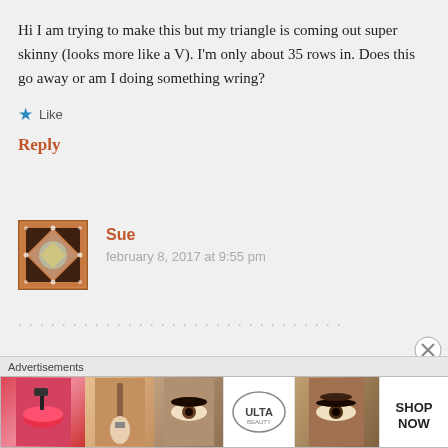Hi I am trying to make this but my triangle is coming out super skinny (looks more like a V). I'm only about 35 rows in. Does this go away or am I doing something wring?
★ Like
Reply
Sue
february 8, 2017 at 9:55 pm
Advertisements